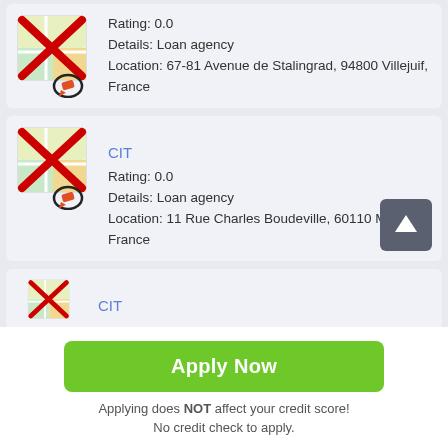[Figure (screenshot): Map icon with red X overlay and a circled pencil/eraser tool, for first listing (no title shown)]
Rating: 0.0
Details: Loan agency
Location: 67-81 Avenue de Stalingrad, 94800 Villejuif, France
[Figure (screenshot): Map icon with red X overlay and a circled pencil/eraser tool, for CIT listing]
CIT
Rating: 0.0
Details: Loan agency
Location: 11 Rue Charles Boudeville, 60110 Méru, France
[Figure (screenshot): Map icon with red X overlay (partial), for second CIT listing]
CIT
Apply Now
Applying does NOT affect your credit score!
No credit check to apply.